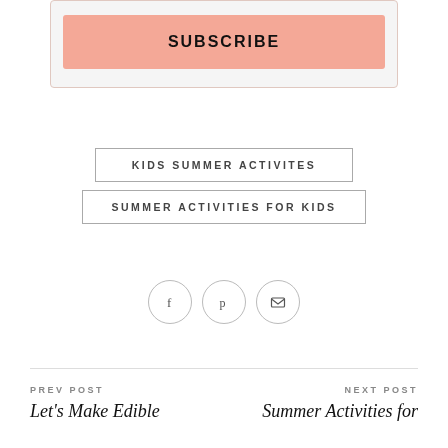SUBSCRIBE
KIDS SUMMER ACTIVITES
SUMMER ACTIVITIES FOR KIDS
[Figure (infographic): Three social sharing icons in circles: Facebook (f), Pinterest (p), and Email (envelope)]
PREV POST
Let's Make Edible
NEXT POST
Summer Activities for